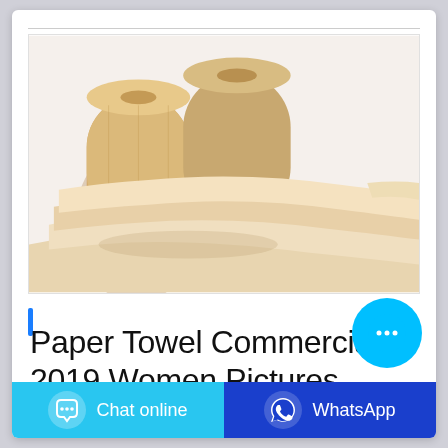[Figure (photo): Commercial paper towels/rolls unrolled on a white surface, showing beige/cream colored paper sheets fanned out with rolls in background]
Paper Towel Commercial 2019 Women Pictures
[Figure (other): Floating cyan chat bubble button with ellipsis icon]
Chat online   WhatsApp